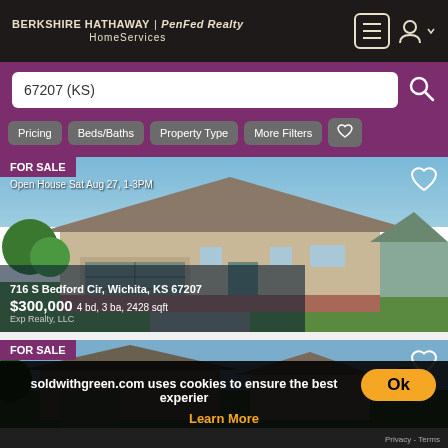BERKSHIRE HATHAWAY | PenFed Realty HomeServices
67207 (KS)
Pricing
Beds/Baths
Property Type
More Filters
[Figure (photo): House for sale at 716 S Bedford Cir, Wichita, KS 67207 - single story ranch style home with two-car garage]
FOR SALE
Open House Sat Aug 27, 1-3PM
716 S Bedford Cir, Wichita, KS 67207
$300,000 4 bd, 3 ba, 2428 sqft
Exp Realty, LLC
[Figure (photo): Second house listing for sale, partial view of home exterior]
FOR SALE
soldwithgreen.com uses cookies to ensure the best experience
Ok
Learn More
Privacy - Terms